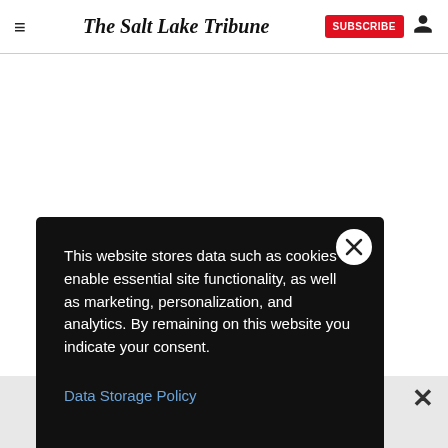The Salt Lake Tribune
of the list
exico was
ings
2), Idaho
This website stores data such as cookies to enable essential site functionality, as well as marketing, personalization, and analytics. By remaining on this website you indicate your consent.
Data Storage Policy